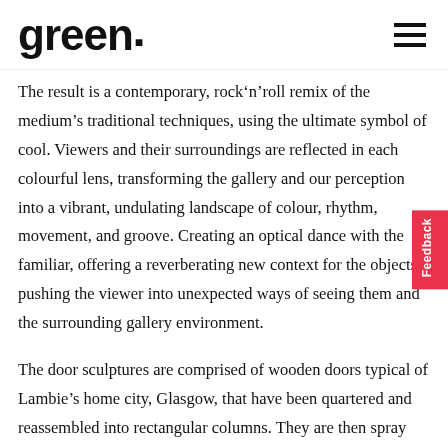green.
The result is a contemporary, rock 'n' roll remix of the medium's traditional techniques, using the ultimate symbol of cool. Viewers and their surroundings are reflected in each colourful lens, transforming the gallery and our perception into a vibrant, undulating landscape of colour, rhythm, movement, and groove. Creating an optical dance with the familiar, offering a reverberating new context for the objects, pushing the viewer into unexpected ways of seeing them and the surrounding gallery environment.
The door sculptures are comprised of wooden doors typical of Lambie's home city, Glasgow, that have been quartered and reassembled into rectangular columns. They are then spray painted with colourful gradients and hung on the wall in different numerical iterations and distance